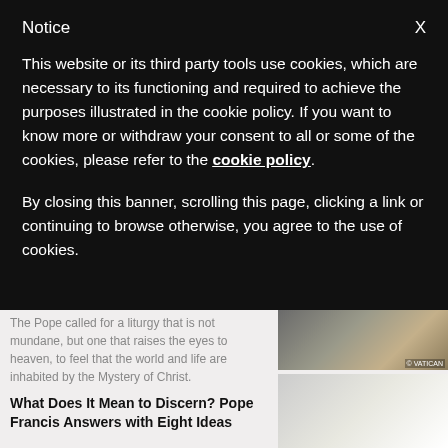Notice
This website or its third party tools use cookies, which are necessary to its functioning and required to achieve the purposes illustrated in the cookie policy. If you want to know more or withdraw your consent to all or some of the cookies, please refer to the cookie policy.
By closing this banner, scrolling this page, clicking a link or continuing to browse otherwise, you agree to the use of cookies.
The Pope called for a liturgy that is not mundane, but one that raises the eyes to heaven, to feel that the world and life are inhabited by the Mystery of Christ.
What Does It Mean to Discern? Pope Francis Answers with Eight Ideas
[Figure (photo): Interior of a church or basilica with ornate mosaic floor, gold cross visible, Vatican setting]
[Figure (photo): Pope Francis bowing his head, wearing white papal zucchetto]